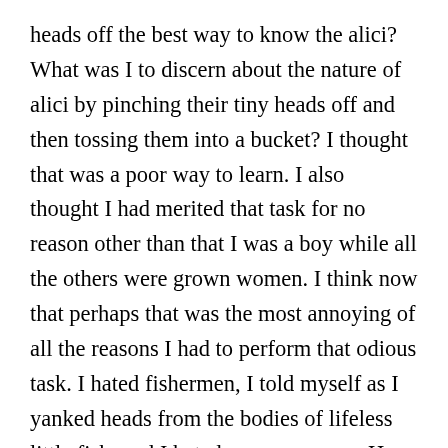heads off the best way to know the alici? What was I to discern about the nature of alici by pinching their tiny heads off and then tossing them into a bucket? I thought that was a poor way to learn. I also thought I had merited that task for no reason other than that I was a boy while all the others were grown women. I think now that perhaps that was the most annoying of all the reasons I had to perform that odious task. I hated fishermen, I told myself as I yanked heads from the bodies of lifeless little fish, and I hated grown women. How I wished, throughout that summer, that pirates might come and take everything away.

    When the fishing season finished and I was